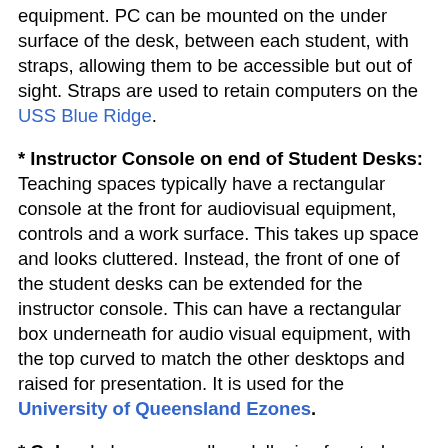equipment. PC can be mounted on the under surface of the desk, between each student, with straps, allowing them to be accessible but out of sight. Straps are used to retain computers on the USS Blue Ridge.
* Instructor Console on end of Student Desks: Teaching spaces typically have a rectangular console at the front for audiovisual equipment, controls and a work surface. This takes up space and looks cluttered. Instead, the front of one of the student desks can be extended for the instructor console. This can have a rectangular box underneath for audio visual equipment, with the top curved to match the other desktops and raised for presentation. It is used for the University of Queensland Ezones.
* Color: Labs are usually a dull mix of muted colours. The usual beige or grey plastic strip placed around the edges of desks can be replaced with one keyed to one of the building colours. This will define the space much more clearly and make it look larger, as well as more interesting.
* Computer Cut Desks: To keep costs down, and raise green credentials, it may be possible to recycle the existing